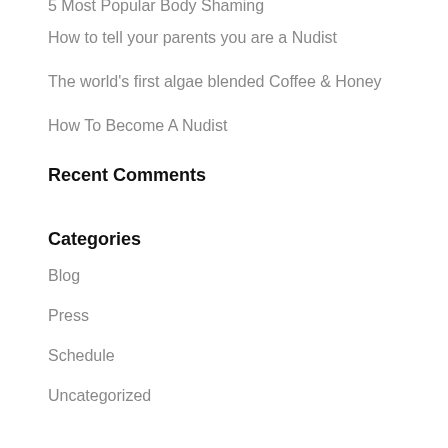5 Most Popular Body Shaming
How to tell your parents you are a Nudist
The world's first algae blended Coffee & Honey
How To Become A Nudist
Recent Comments
Categories
Blog
Press
Schedule
Uncategorized